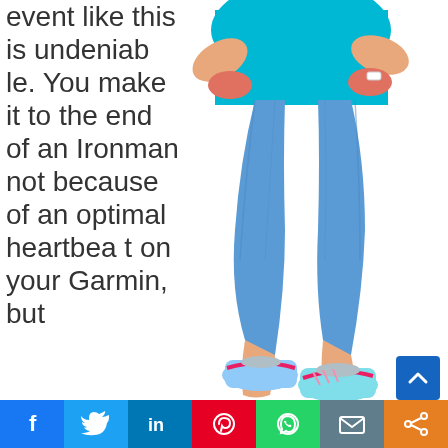event like this is undeniable. You make it to the end of an Ironman not because of an optimal heartbeat on your Garmin, but
[Figure (photo): Woman wearing blue athletic capri leggings, a teal/blue tank top, and colorful ASICS running shoes, shown from the torso down, posing with hands on hips against a white background.]
[Figure (infographic): Social media sharing bar with icons for Facebook, Twitter, LinkedIn, Pinterest, WhatsApp, Email, and Share.]